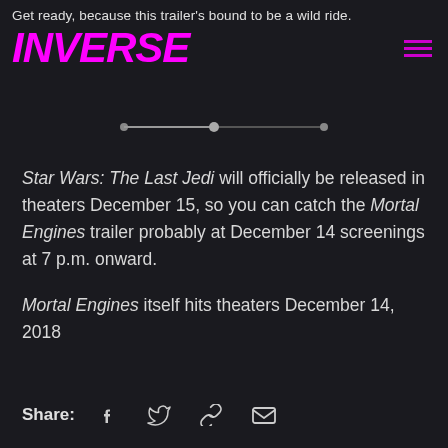Get ready, because this trailer's bound to be a wild ride.
INVERSE
[Figure (other): Video/audio scrubber bar with a progress indicator]
Star Wars: The Last Jedi will officially be released in theaters December 15, so you can catch the Mortal Engines trailer probably at December 14 screenings at 7 p.m. onward.
Mortal Engines itself hits theaters December 14, 2018
Share: